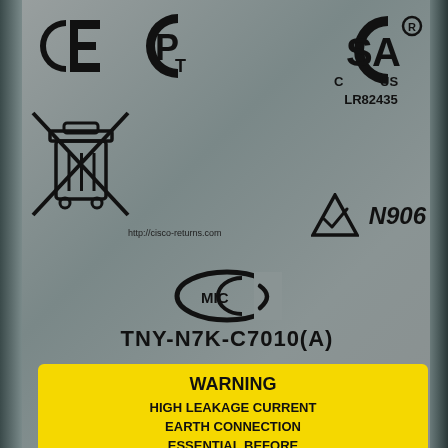[Figure (illustration): Equipment label from a Cisco Nexus 7010 device showing CE, PCT, CSA (LR82435), WEEE recycling symbol, Australian compliance triangle (N906), MIC mark, model number TNY-N7K-C7010(A), and a yellow warning label for high leakage current.]
http://cisco-returns.com
TNY-N7K-C7010(A)
WARNING
HIGH LEAKAGE CURRENT
EARTH CONNECTION
ESSENTIAL BEFORE
CONNECTING TO SUPPLY